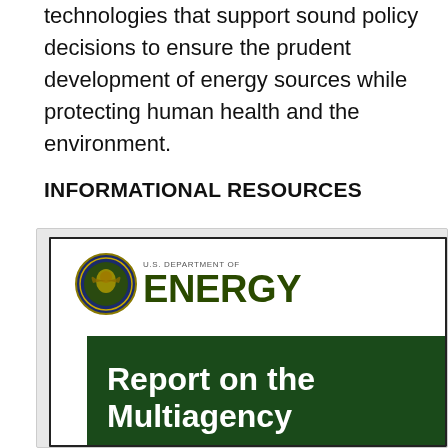technologies that support sound policy decisions to ensure the prudent development of energy sources while protecting human health and the environment.
INFORMATIONAL RESOURCES
[Figure (screenshot): Screenshot of U.S. Department of Energy website showing the DOE seal and logo, with a green banner below beginning 'Report on the Multiagency...']